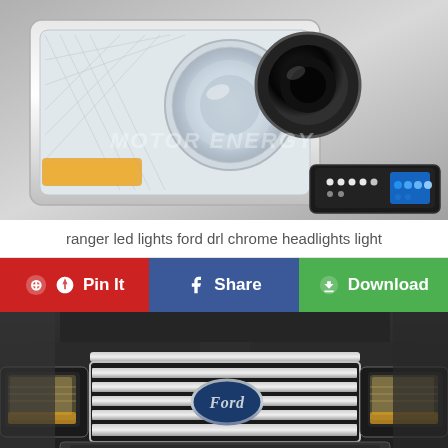[Figure (photo): Chrome Ford Ranger headlights with DRL LED daytime running lights, Motor Energy branded product photo on gray background]
ranger led lights ford drl chrome headlights light
[Figure (infographic): Action bar with three buttons: Pin It (red, Pinterest), Share (blue, Facebook), Download (green)]
[Figure (photo): Ford F-150 truck front view showing chrome grille with Ford oval emblem and headlights]